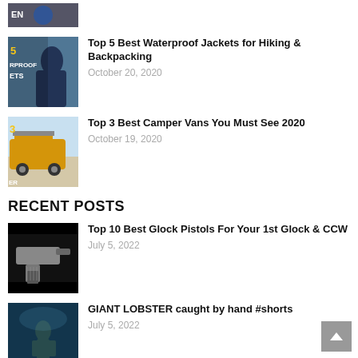[Figure (photo): Partial thumbnail of an article at top of page, clipped]
[Figure (photo): Thumbnail for waterproof jackets article showing person in rain jacket with text overlay '5 WATERPROOF JACKETS']
Top 5 Best Waterproof Jackets for Hiking & Backpacking
October 20, 2020
[Figure (photo): Thumbnail for camper vans article showing yellow off-road van with text overlay '3 CAMPER VANS']
Top 3 Best Camper Vans You Must See 2020
October 19, 2020
RECENT POSTS
[Figure (photo): Thumbnail for Glock pistols article showing a pistol on dark background]
Top 10 Best Glock Pistols For Your 1st Glock & CCW
July 5, 2022
[Figure (photo): Thumbnail for giant lobster article showing a diver underwater]
GIANT LOBSTER caught by hand #shorts
July 5, 2022